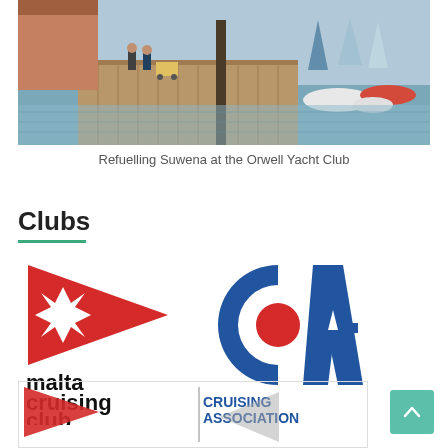[Figure (photo): Photograph of people refuelling a boat (Suwena) at the Orwell Yacht Club, with a wooden dock, sailboats, and calm water in the background.]
Refuelling Suwena at the Orwell Yacht Club
Clubs
[Figure (logo): Malta Cruising Club logo: red burgee pennant with Maltese cross, text 'malta cruising club' in bold black]
[Figure (logo): Cruising Association (CA) logo: large blue CA letters with red circle, text 'CRUISING ASSOCIATION' in bold blue]